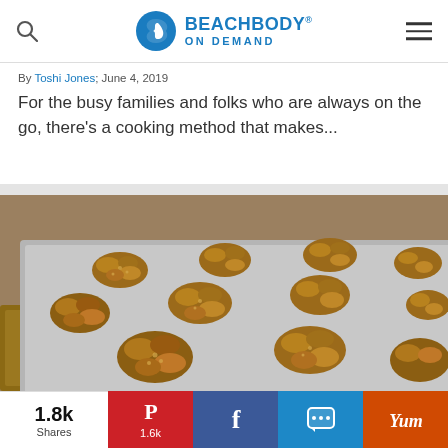Beachbody On Demand
By Toshi Jones; June 4, 2019
For the busy families and folks who are always on the go, there’s a cooking method that makes...
[Figure (photo): Oatmeal cookies or granola clusters arranged on a baking sheet, close-up photo]
1.8k Shares
1.6k (Pinterest)
Facebook share
SMS share
Yum